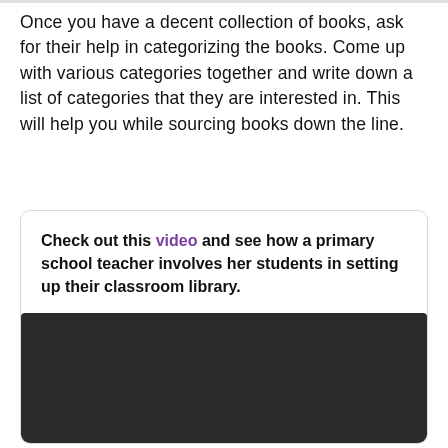Once you have a decent collection of books, ask for their help in categorizing the books. Come up with various categories together and write down a list of categories that they are interested in. This will help you while sourcing books down the line.
Check out this video and see how a primary school teacher involves her students in setting up their classroom library.
[Figure (screenshot): Dark/black video player placeholder embedded in the callout box]